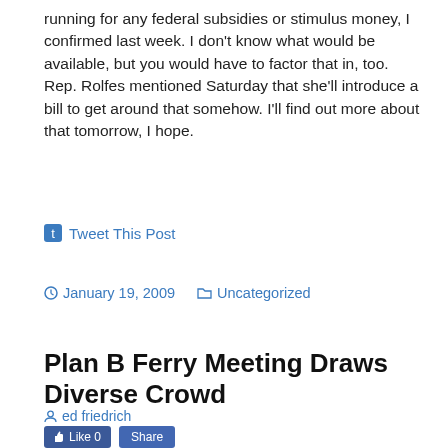running for any federal subsidies or stimulus money, I confirmed last week. I don't know what would be available, but you would have to factor that in, too. Rep. Rolfes mentioned Saturday that she'll introduce a bill to get around that somehow. I'll find out more about that tomorrow, I hope.
Tweet This Post
January 19, 2009   Uncategorized
Plan B Ferry Meeting Draws Diverse Crowd
ed friedrich
Like 0   Share